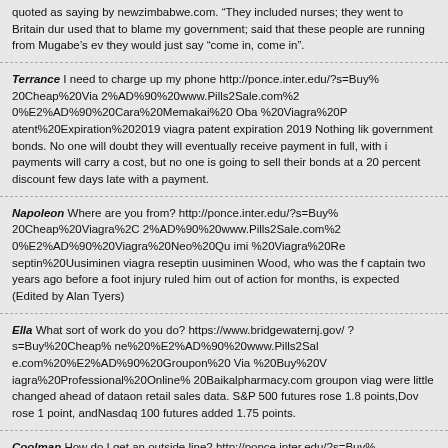quoted as saying by newzimbabwe.com. “They included nurses; they went to Britain dur used that to blame my government; said that these people are running from Mugabe’s ev they would just say “come in, come in”.
Terrance I need to charge up my phone http://ponce.inter.edu/?s=Buy% 20Cheap%20Via 2%AD%90%20www.Pills2Sale.com%2 0%E2%AD%90%20Cara%20Memakai%20 Oba %20Viagra%20P atent%20Expiration%202019 viagra patent expiration 2019 Nothing lik government bonds. No one will doubt they will eventually receive payment in full, with i payments will carry a cost, but no one is going to sell their bonds at a 20 percent discount few days late with a payment.
Napoleon Where are you from? http://ponce.inter.edu/?s=Buy% 20Cheap%20Viagra%2C 2%AD%90%20www.Pills2Sale.com%2 0%E2%AD%90%20Viagra%20Neo%20Qu imi %20Viagra%20Re septin%20Uusiminen viagra reseptin uusiminen Wood, who was the f captain two years ago before a foot injury ruled him out of action for months, is expected (Edited by Alan Tyers)
Ella What sort of work do you do? https://www.bridgewaternj.gov/ ?s=Buy%20Cheap% ne%20%E2%AD%90%20www.Pills2Sal e.com%20%E2%AD%90%20Groupon%20 Via %20Buy%20V iagra%20Professional%20Online% 20Baikalpharmacy.com groupon viag were little changed ahead of dataon retail sales data. S&P 500 futures rose 1.8 points,Dov rose 1 point, andNasdaq 100 futures added 1.75 points.
Coolman How do I get an outside line? http://ponce.inter.edu/?s=Buy% 20Cheap%20Via 2%AD%90%20www.Pills2Sale.com%2 0%E2%AD%90%20Viagra%20E%20Losa rtan %20Pode%20Tomar%20Via gra%20Com%20Losartana viagra e losartanaJobless rates r